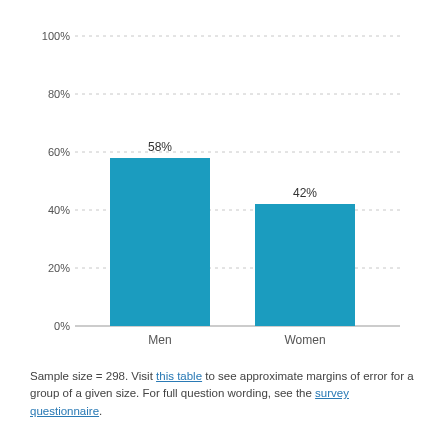[Figure (bar-chart): ]
Sample size = 298. Visit this table to see approximate margins of error for a group of a given size. For full question wording, see the survey questionnaire.